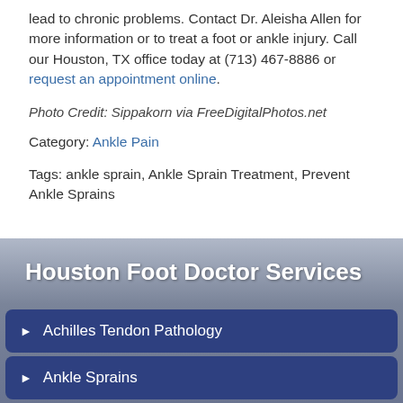lead to chronic problems. Contact Dr. Aleisha Allen for more information or to treat a foot or ankle injury. Call our Houston, TX office today at (713) 467-8886 or request an appointment online.
Photo Credit: Sippakorn via FreeDigitalPhotos.net
Category: Ankle Pain
Tags: ankle sprain, Ankle Sprain Treatment, Prevent Ankle Sprains
Houston Foot Doctor Services
Achilles Tendon Pathology
Ankle Sprains